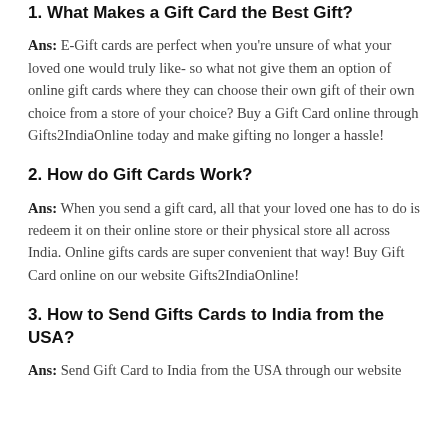1. What Makes a Gift Card the Best Gift?
Ans: E-Gift cards are perfect when you’re unsure of what your loved one would truly like- so what not give them an option of online gift cards where they can choose their own gift of their own choice from a store of your choice? Buy a Gift Card online through Gifts2IndiaOnline today and make gifting no longer a hassle!
2. How do Gift Cards Work?
Ans: When you send a gift card, all that your loved one has to do is redeem it on their online store or their physical store all across India. Online gifts cards are super convenient that way! Buy Gift Card online on our website Gifts2IndiaOnline!
3. How to Send Gifts Cards to India from the USA?
Ans: Send Gift Card to India from the USA through our website